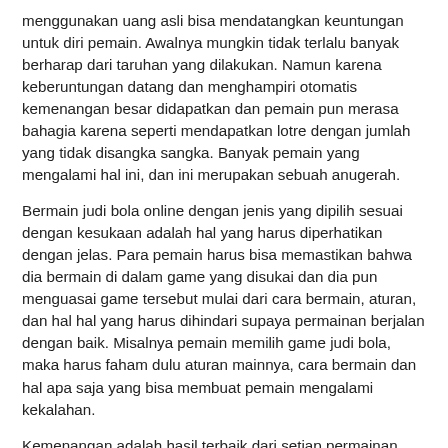menggunakan uang asli bisa mendatangkan keuntungan untuk diri pemain. Awalnya mungkin tidak terlalu banyak berharap dari taruhan yang dilakukan. Namun karena keberuntungan datang dan menghampiri otomatis kemenangan besar didapatkan dan pemain pun merasa bahagia karena seperti mendapatkan lotre dengan jumlah yang tidak disangka sangka. Banyak pemain yang mengalami hal ini, dan ini merupakan sebuah anugerah.
Bermain judi bola online dengan jenis yang dipilih sesuai dengan kesukaan adalah hal yang harus diperhatikan dengan jelas. Para pemain harus bisa memastikan bahwa dia bermain di dalam game yang disukai dan dia pun menguasai game tersebut mulai dari cara bermain, aturan, dan hal hal yang harus dihindari supaya permainan berjalan dengan baik. Misalnya pemain memilih game judi bola, maka harus faham dulu aturan mainnya, cara bermain dan hal apa saja yang bisa membuat pemain mengalami kekalahan.
Kemenangan adalah hasil terbaik dari setiap permainan yang dilakukan. Tidak menutup kemungkinan para pemain yang melakukan taruhan sebagai hobi pun mengalami sebuah kekecewaan pada saat tidak menang. Bedanya, pemain pro akan